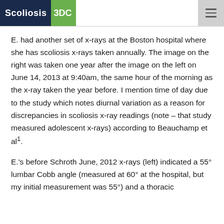Scoliosis 3DC
E. had another set of x-rays at the Boston hospital where she has scoliosis x-rays taken annually. The image on the right was taken one year after the image on the left on June 14, 2013 at 9:40am, the same hour of the morning as the x-ray taken the year before. I mention time of day due to the study which notes diurnal variation as a reason for discrepancies in scoliosis x-ray readings (note – that study measured adolescent x-rays) according to Beauchamp et al¹.
E.'s before Schroth June, 2012 x-rays (left) indicated a 55° lumbar Cobb angle (measured at 60° at the hospital, but my initial measurement was 55°) and a thoracic